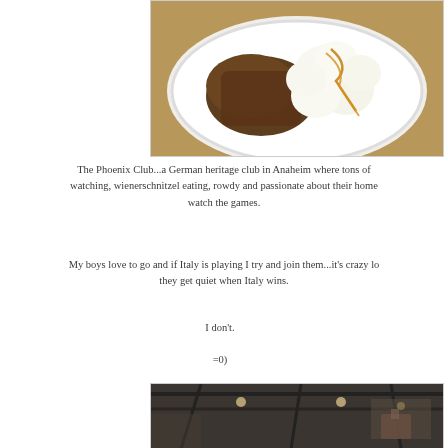[Figure (photo): A white plate with a dessert — appears to be a brownie or cake topped with scoops of whipped cream or ice cream drizzled with caramel sauce.]
The Phoenix Club...a German heritage club in Anaheim where tons of watching, wienerschnitzel eating, rowdy and passionate about their home watch the games.
My boys love to go and if Italy is playing I try and join them...it's crazy lo they get quiet when Italy wins.
I don't.
=0)
[Figure (photo): Interior of a large hall or venue with industrial ceiling structure, dark rafters, and hanging light fixtures visible.]